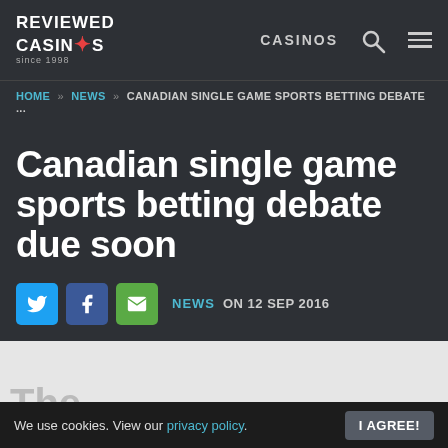REVIEWED CASINOS since 1998 | CASINOS
HOME » NEWS » CANADIAN SINGLE GAME SPORTS BETTING DEBATE ...
Canadian single game sports betting debate due soon
NEWS ON 12 SEP 2016
The ...
We use cookies. View our privacy policy. I AGREE!